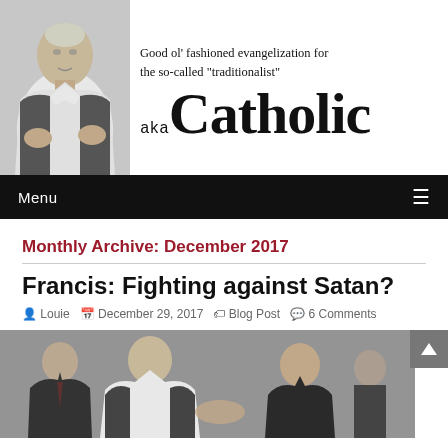[Figure (photo): Website header banner for 'aka Catholic' blog featuring a black-and-white photo of an elderly man (pope figure) on the left, with text 'Good ol' fashioned evangelization for the so-called "traditionalist"' at the top right, and 'aka Catholic' in large mixed typography below.]
Menu
Monthly Archive: December 2017
Francis: Fighting against Satan?
Louie   December 29, 2017   Blog Post   6 Comments
[Figure (photo): Photograph showing men in suits, one wearing white papal vestments, in what appears to be a meeting or greeting scene.]